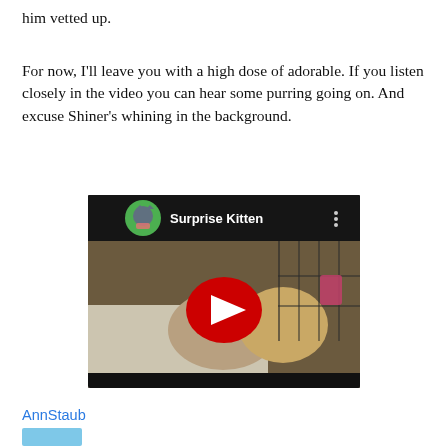him vetted up.
For now, I'll leave you with a high dose of adorable. If you listen closely in the video you can hear some purring going on. And excuse Shiner's whining in the background.
[Figure (screenshot): YouTube video thumbnail titled 'Surprise Kitten' showing kittens in a cage on white towels with a large red YouTube play button overlay and a channel icon of a cartoon cat in the upper left.]
AnnStaub
[blue button/tag element]